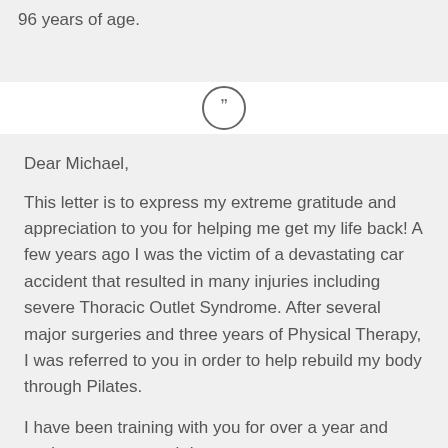96 years of age.
[Figure (illustration): A circle with closing double quotation marks inside, representing a quote icon]
Dear Michael,

This letter is to express my extreme gratitude and appreciation to you for helping me get my life back!  A few years ago I was the victim of a devastating car accident that resulted in many injuries including severe Thoracic Outlet Syndrome.  After several major surgeries and three years of Physical Therapy, I was referred to you in order to help rebuild my body through Pilates.

I have been training with you for over a year and can't express enough how